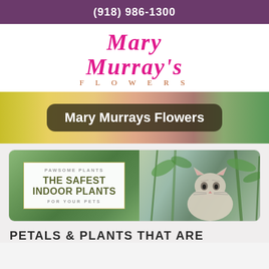(918) 986-1300
[Figure (logo): Mary Murray's Flowers logo with stylized serif italic text in pink/magenta and 'FLOWERS' in spaced orange letters below]
[Figure (photo): Hero banner with floral background (roses, yellow and pink flowers) and overlay text box reading 'Mary Murrays Flowers']
[Figure (infographic): Promotional card image with plant/cat photo background. Left side white text box: 'PAWSOME PLANTS / THE SAFEST INDOOR PLANTS / FOR YOUR PETS'. Right side shows a tabby cat among green indoor plants.]
PETALS & PLANTS THAT ARE